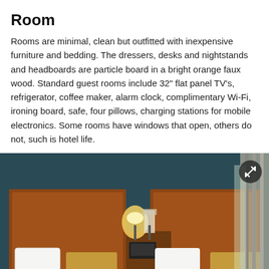Room
Rooms are minimal, clean but outfitted with inexpensive furniture and bedding. The dressers, desks and nightstands and headboards are particle board in a bright orange faux wood. Standard guest rooms include 32" flat panel TV's, refrigerator, coffee maker, alarm clock, complimentary Wi-Fi, ironing board, safe, four pillows, charging stations for mobile electronics. Some rooms have windows that open, others do not, such is hotel life.
[Figure (photo): Hotel room with two double beds featuring orange/brown wooden headboards, white and gold/tan pillows and bedding, a nightstand with lamp and telephone in between, and teal/dark blue walls. Room has gray curtains near a window on the right side.]